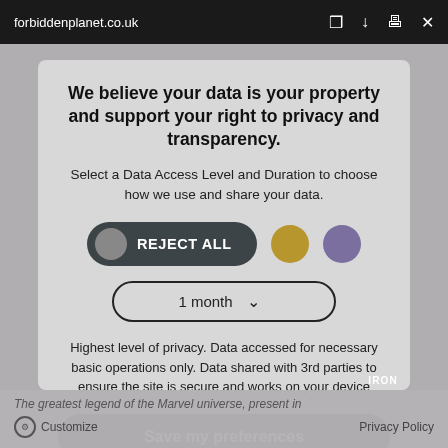forbiddenplanet.co.uk
We believe your data is your property and support your right to privacy and transparency.
Select a Data Access Level and Duration to choose how we use and share your data.
[Figure (infographic): REJECT ALL button (dark pill with grey circle), gold circle button, purple circle button, and a '1 month' dropdown selector]
Highest level of privacy. Data accessed for necessary basic operations only. Data shared with 3rd parties to ensure the site is secure and works on your device
Save my preferences
The greatest legend of the Marvel universe, present in
Customize
Privacy Policy